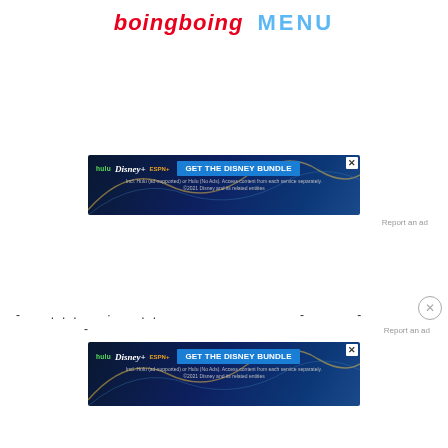boingboing MENU
[Figure (infographic): Disney Bundle advertisement banner: hulu, Disney+, ESPN+ logos with 'GET THE DISNEY BUNDLE' CTA button. Fine print: Incl. Hulu (ad-supported) or Hulu (No Ads). Access content from each service separately. ©2021 Disney and its related entities.]
Report an ad
- ... · .. - - -
Report an ad
[Figure (infographic): Disney Bundle advertisement banner (second instance): hulu, Disney+, ESPN+ logos with 'GET THE DISNEY BUNDLE' CTA button. Fine print: Incl. Hulu (ad-supported) or Hulu (No Ads). Access content from each service separately. ©2021 Disney and its related entities.]